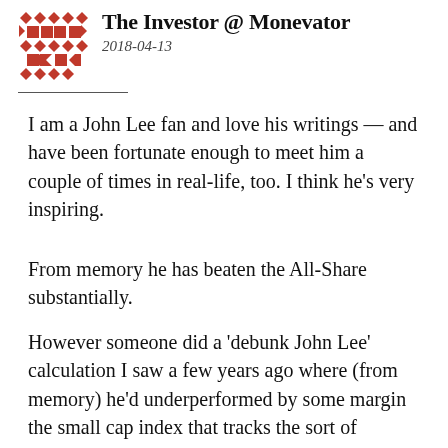The Investor @ Monevator
2018-04-13
I am a John Lee fan and love his writings — and have been fortunate enough to meet him a couple of times in real-life, too. I think he’s very inspiring.
From memory he has beaten the All-Share substantially.
However someone did a ‘debunk John Lee’ calculation I saw a few years ago where (from memory) he’d underperformed by some margin the small cap index that tracks the sort of